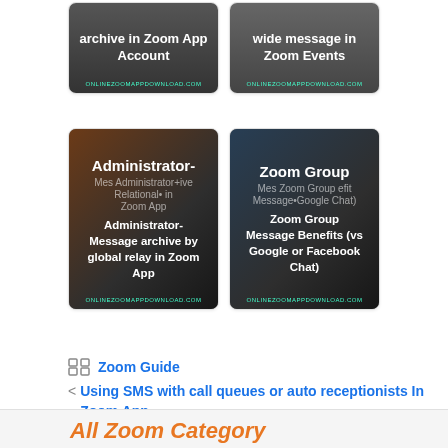[Figure (screenshot): Thumbnail card: 'archive in Zoom App Account' with dark background and green brand text]
[Figure (screenshot): Thumbnail card: 'wide message in Zoom Events' with dark background and green brand text]
[Figure (screenshot): Large thumbnail card: 'Administrator-Message archive by global relay in Zoom App' with photo background]
[Figure (screenshot): Large thumbnail card: 'Zoom Group Message Benefits (vs Google or Facebook Chat)' with photo background]
Zoom Guide
Using SMS with call queues or auto receptionists In Zoom App
Locking or unlocking a call In Zoom App
All Zoom Category